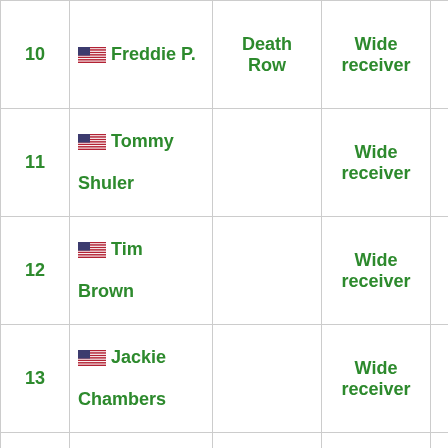| # | Player | Team | Position | Value |
| --- | --- | --- | --- | --- |
| 10 | 🇺🇸 Freddie P. | Death Row | Wide receiver | 0 |
| 11 | 🇺🇸 Tommy Shuler |  | Wide receiver | 0 |
| 12 | 🇺🇸 Tim Brown |  | Wide receiver | 0 |
| 13 | 🇺🇸 Jackie Chambers |  | Wide receiver | 0 |
|  |  |  |  |  |